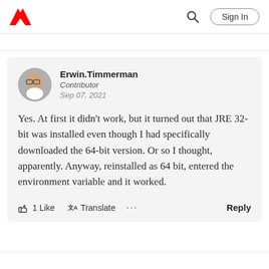Adobe | Sign In
Erwin.Timmerman
Contributor
Sep 07, 2021
Yes. At first it didn't work, but it turned out that JRE 32-bit was installed even though I had specifically downloaded the 64-bit version. Or so I thought, apparently. Anyway, reinstalled as 64 bit, entered the environment variable and it worked.
1 Like   Translate   ...   Reply